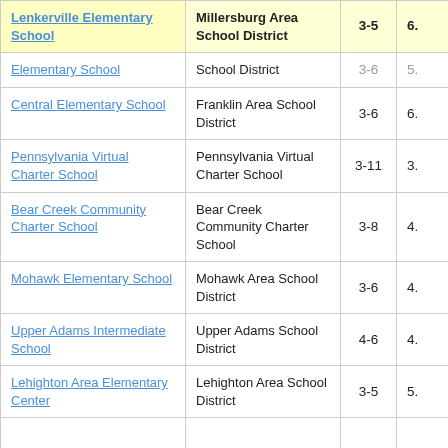| School | District | Grades | Score |
| --- | --- | --- | --- |
| Lenkerville Elementary School | Millersburg Area School District | 3-5 | 6. |
| Elementary School | School District | 3-6 | 5. |
| Central Elementary School | Franklin Area School District | 3-6 | 6. |
| Pennsylvania Virtual Charter School | Pennsylvania Virtual Charter School | 3-11 | 3. |
| Bear Creek Community Charter School | Bear Creek Community Charter School | 3-8 | 4. |
| Mohawk Elementary School | Mohawk Area School District | 3-6 | 4. |
| Upper Adams Intermediate School | Upper Adams School District | 4-6 | 4. |
| Lehighton Area Elementary Center | Lehighton Area School District | 3-5 | 5. |
|  |  |  |  |